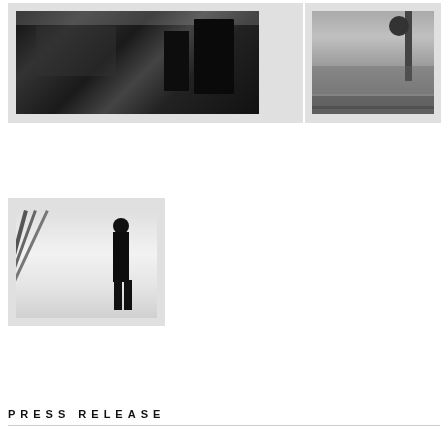[Figure (photo): Black and white photograph of a person in a dark coat at what appears to be a bar or diner counter with lights in the background]
[Figure (photo): Black and white photograph of a misty waterfront cityscape with a lamppost railing in the foreground]
[Figure (photo): Black and white photograph of a man in a suit standing alone in a white studio space with diagonal lines/rods]
PRESS RELEASE